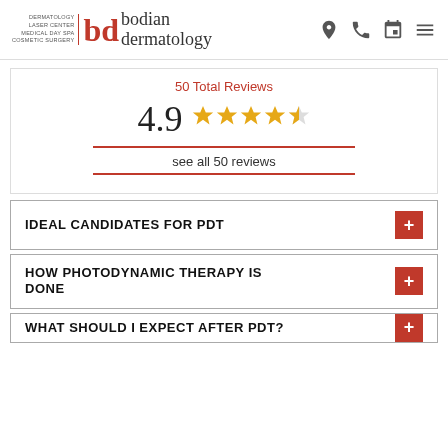[Figure (logo): Bodian Dermatology logo with red 'bd' initials and taglines: Dermatology Laser Center, Medical Day Spa, Cosmetic Surgery]
50 Total Reviews
4.9 ★★★★½
see all 50 reviews
IDEAL CANDIDATES FOR PDT
HOW PHOTODYNAMIC THERAPY IS DONE
WHAT SHOULD I EXPECT AFTER PDT?